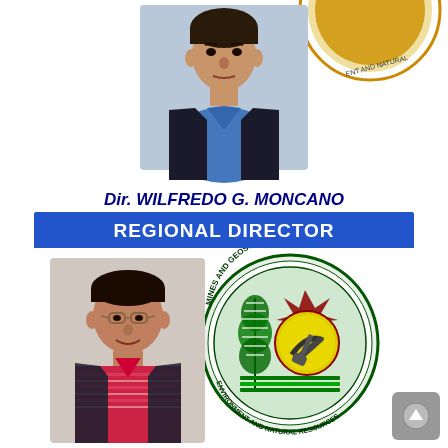[Figure (photo): Headshot photo of Dir. Wilfredo G. Moncano wearing a blue shirt and dark blazer against a white background, with a partial government seal visible at top]
Dir. WILFREDO G. MONCANO
REGIONAL DIRECTOR
[Figure (photo): Photo of a man smiling, wearing a pink/red striped polo shirt, overlapping with the Mines and Geosciences Bureau - Environment and Natural Resources official seal/logo]